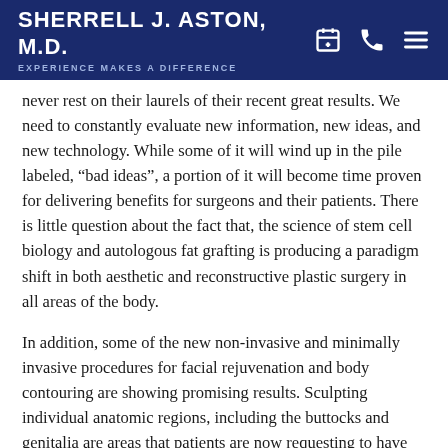SHERRELL J. ASTON, M.D. EXPERIENCE MAKES A DIFFERENCE
never rest on their laurels of their recent great results. We need to constantly evaluate new information, new ideas, and new technology. While some of it will wind up in the pile labeled, “bad ideas”, a portion of it will become time proven for delivering benefits for surgeons and their patients. There is little question about the fact that, the science of stem cell biology and autologous fat grafting is producing a paradigm shift in both aesthetic and reconstructive plastic surgery in all areas of the body.
In addition, some of the new non-invasive and minimally invasive procedures for facial rejuvenation and body contouring are showing promising results. Sculpting individual anatomic regions, including the buttocks and genitalia are areas that patients are now requesting to have improved. A practicing plastic surgeon must have extensive knowledge in treating these areas.
Change is good and necessary. A surgeon’s evolution can